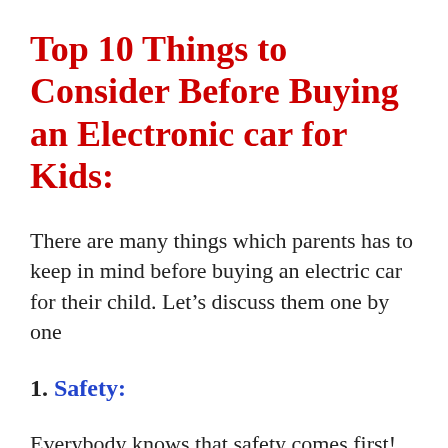Top 10 Things to Consider Before Buying an Electronic car for Kids:
There are many things which parents has to keep in mind before buying an electric car for their child. Let’s discuss them one by one
1. Safety:
Everybody knows that safety comes first!
When it comes about children, it is our